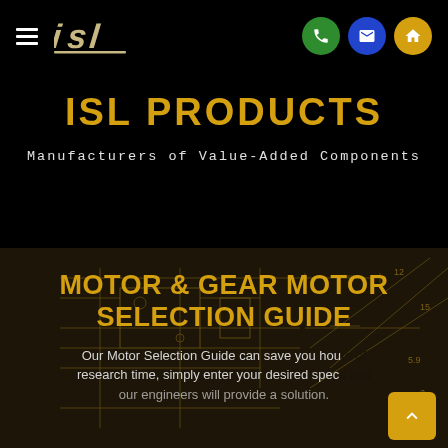[Figure (logo): ISL company logo — stylized italic 'isl' letters in gold/tan color on black background, with hamburger menu icon to the left]
[Figure (infographic): Navigation bar icons: green circle with phone icon, blue circle with envelope icon, gold/orange circle with house/home icon]
ISL PRODUCTS
Manufacturers of Value-Added Components
[Figure (engineering-diagram): Dark background with faint golden engineering/technical drawing lines, dimensions, and blueprint-style annotations]
MOTOR & GEAR MOTOR SELECTION GUIDE
Our Motor Selection Guide can save you hours of research time, simply enter your desired specs and our engineers will provide a solution.